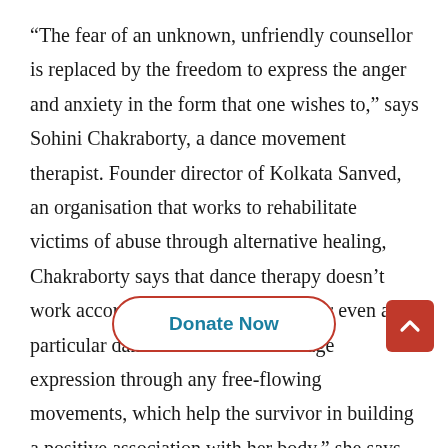“The fear of an unknown, unfriendly counsellor is replaced by the freedom to express the anger and anxiety in the form that one wishes to,” says Sohini Chakraborty, a dance movement therapist. Founder director of Kolkata Sanved, an organisation that works to rehabilitate victims of abuse through alternative healing, Chakraborty says that dance therapy doesn’t work according a strict curriculum, or even a particular dance form. “We encourage expression through any free-flowing movements, which help the survivor in building a positive association with her body,” she says.

What was the instrument of abuse, now changes to a medium of expression, and enables the sur… …self assurance.Another alternative th… …to address the issue is drama. When Anupriva Das Singh, a
[Figure (other): Donate Now button (oval, red border, teal text) and a red scroll-to-top button with upward chevron arrow, overlaid on the bottom portion of the page]